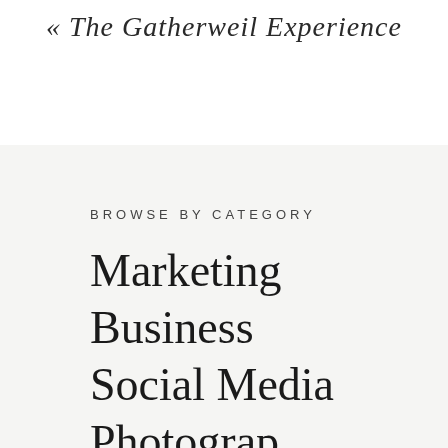« The Gatherweil Experience
BROWSE BY CATEGORY
Marketing
Business
Social Media
Photography